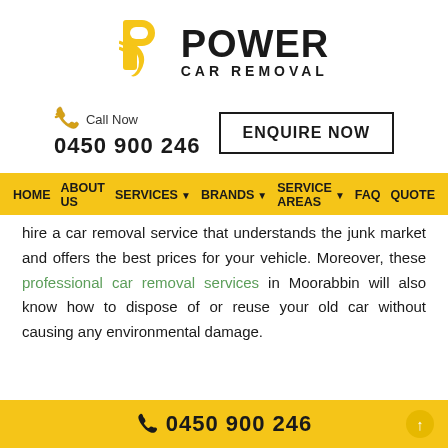[Figure (logo): Power Car Removal logo with yellow P icon and bold black text POWER CAR REMOVAL]
Call Now 0450 900 246
ENQUIRE NOW
HOME  ABOUT US  SERVICES  BRANDS  SERVICE AREAS  FAQ  QUOTE
hire a car removal service that understands the junk market and offers the best prices for your vehicle. Moreover, these professional car removal services in Moorabbin will also know how to dispose of or reuse your old car without causing any environmental damage.
0450 900 246